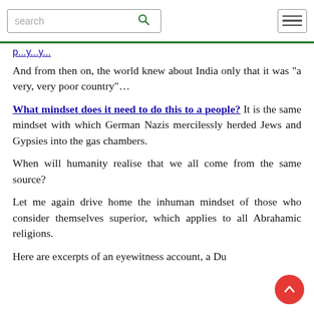search [search icon] [hamburger menu]
p...y...y...
And from then on, the world knew about India only that it was “a very, very poor country”…
What mindset does it need to do this to a people? It is the same mindset with which German Nazis mercilessly herded Jews and Gypsies into the gas chambers.
When will humanity realise that we all come from the same source?
Let me again drive home the inhuman mindset of those who consider themselves superior, which applies to all Abrahamic religions.
Here are excerpts of an eyewitness account, a Du...